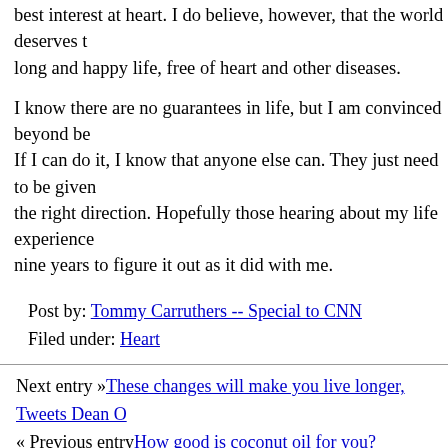best interest at heart. I do believe, however, that the world deserves to live a long and happy life, free of heart and other diseases.
I know there are no guarantees in life, but I am convinced beyond belief that it works. If I can do it, I know that anyone else can. They just need to be given a push in the right direction. Hopefully those hearing about my life experience won't take nine years to figure it out as it did with me.
Post by: Tommy Carruthers -- Special to CNN
Filed under: Heart
Next entry »These changes will make you live longer, Tweets Dean O
« Previous entryHow good is coconut oil for you?
soundoff (1,261 Responses)
Tom
Four years ago today I wrote this blog post for CNN. It's been stent was placed. In fact last Spring I had a catheterization that even better the previous blockage that was too small for a stent reversal. Today I am happy and healthy, and far from miserable and exercising regularly.
Many of my Facebook friends may have seen my multiple po